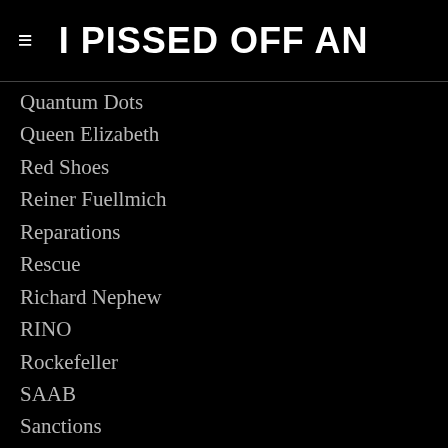≡  I PISSED OFF AN
Quantum Dots
Queen Elizabeth
Red Shoes
Reiner Fuellmich
Reparations
Rescue
Richard Nephew
RINO
Rockefeller
SAAB
Sanctions
SARS CoV
Save The Children
Scamdemic
Scorecard
Scott McKay
SCOTUS